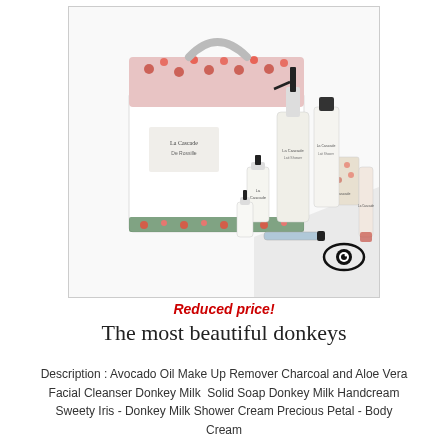[Figure (photo): La Cascade gift set with floral-patterned carry box and multiple beauty products including pump bottle, bar soap, tubes and small bottles arranged in front of the box]
Reduced price!
The most beautiful donkeys
Description : Avocado Oil Make Up Remover Charcoal and Aloe Vera Facial Cleanser Donkey Milk  Solid Soap Donkey Milk Handcream Sweety Iris - Donkey Milk Shower Cream Precious Petal - Body Cream